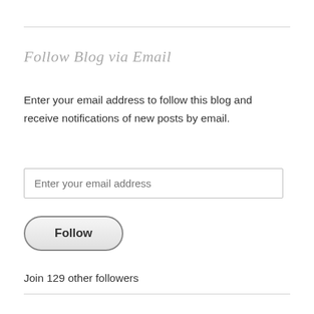Follow Blog via Email
Enter your email address to follow this blog and receive notifications of new posts by email.
Enter your email address
Follow
Join 129 other followers